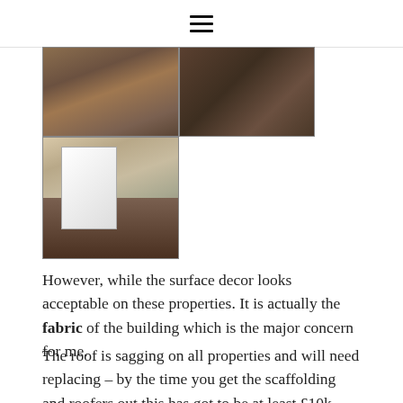[Figure (photo): Collage of interior property photos showing flooring and a room with open door and tools]
However, while the surface decor looks acceptable on these properties. It is actually the fabric of the building which is the major concern for me.
The roof is sagging on all properties and will need replacing – by the time you get the scaffolding and roofers out this has got to be at least £10k.